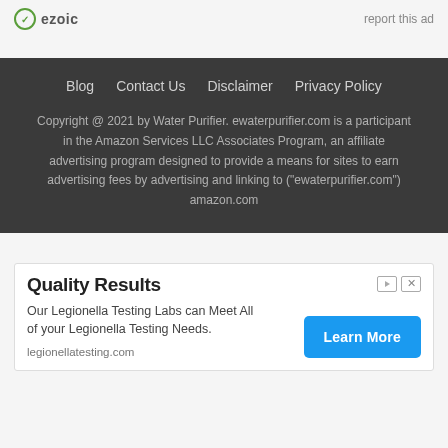[Figure (screenshot): Top ad area with ezoic logo on left and 'report this ad' text on right]
Blog   Contact Us   Disclaimer   Privacy Policy

Copyright @ 2021 by Water Purifier. ewaterpurifier.com is a participant in the Amazon Services LLC Associates Program, an affiliate advertising program designed to provide a means for sites to earn advertising fees by advertising and linking to ("ewaterpurifier.com") amazon.com
[Figure (screenshot): Bottom advertisement box: Quality Results - Our Legionella Testing Labs can Meet All of your Legionella Testing Needs. legionellatesting.com | Learn More button]